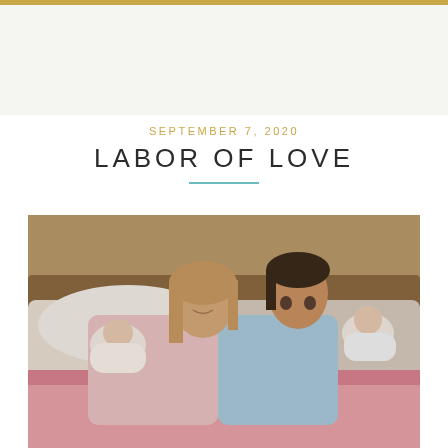SEPTEMBER 7, 2020
LABOR OF LOVE
[Figure (photo): A woman and a man sitting on a bed or couch, each holding a baby. The woman is on the left wearing a pink top, holding a baby wrapped in white. The man is on the right wearing a light blue shirt, holding another baby. A pink blanket covers their laps. They appear to be looking at each other in a warm, intimate moment.]